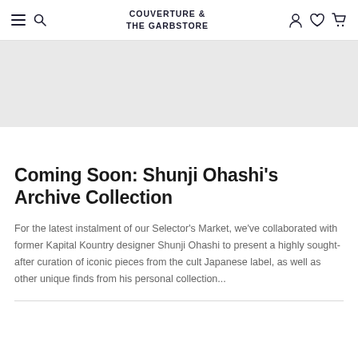COUVERTURE & THE GARBSTORE
[Figure (photo): Partial view of a hero image with light grey background, cropped at top]
Coming Soon: Shunji Ohashi's Archive Collection
For the latest instalment of our Selector's Market, we've collaborated with former Kapital Kountry designer Shunji Ohashi to present a highly sought-after curation of iconic pieces from the cult Japanese label, as well as other unique finds from his personal collection...